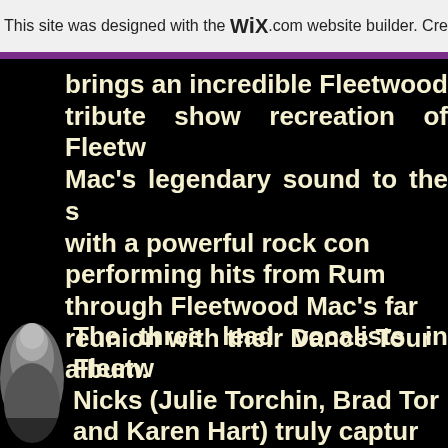This site was designed with the WIX.com website builder. Create yo
brings an incredible Fleetwood tribute show recreation of Fleetwood Mac's legendary sound to the s with a powerful rock con performing hits from Rum through Fleetwood Mac's far reunion with their Dance Tour album.
[Figure (photo): Black and white partial photo of a person, visible on the lower left side of the page]
The three lead vocalists in Fleetw Nicks (Julie Torchin, Brad Tor and Karen Hart) truly captur